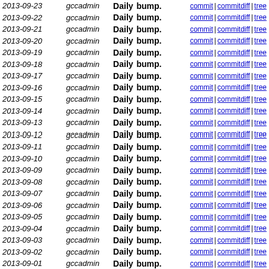| Date | Author | Message | Links |
| --- | --- | --- | --- |
| 2013-09-23 | gccadmin | Daily bump. | commit | commitdiff | tree |
| 2013-09-22 | gccadmin | Daily bump. | commit | commitdiff | tree |
| 2013-09-21 | gccadmin | Daily bump. | commit | commitdiff | tree |
| 2013-09-20 | gccadmin | Daily bump. | commit | commitdiff | tree |
| 2013-09-19 | gccadmin | Daily bump. | commit | commitdiff | tree |
| 2013-09-18 | gccadmin | Daily bump. | commit | commitdiff | tree |
| 2013-09-17 | gccadmin | Daily bump. | commit | commitdiff | tree |
| 2013-09-16 | gccadmin | Daily bump. | commit | commitdiff | tree |
| 2013-09-15 | gccadmin | Daily bump. | commit | commitdiff | tree |
| 2013-09-14 | gccadmin | Daily bump. | commit | commitdiff | tree |
| 2013-09-13 | gccadmin | Daily bump. | commit | commitdiff | tree |
| 2013-09-12 | gccadmin | Daily bump. | commit | commitdiff | tree |
| 2013-09-11 | gccadmin | Daily bump. | commit | commitdiff | tree |
| 2013-09-10 | gccadmin | Daily bump. | commit | commitdiff | tree |
| 2013-09-09 | gccadmin | Daily bump. | commit | commitdiff | tree |
| 2013-09-08 | gccadmin | Daily bump. | commit | commitdiff | tree |
| 2013-09-07 | gccadmin | Daily bump. | commit | commitdiff | tree |
| 2013-09-06 | gccadmin | Daily bump. | commit | commitdiff | tree |
| 2013-09-05 | gccadmin | Daily bump. | commit | commitdiff | tree |
| 2013-09-04 | gccadmin | Daily bump. | commit | commitdiff | tree |
| 2013-09-03 | gccadmin | Daily bump. | commit | commitdiff | tree |
| 2013-09-02 | gccadmin | Daily bump. | commit | commitdiff | tree |
| 2013-09-01 | gccadmin | Daily bump. | commit | commitdiff | tree |